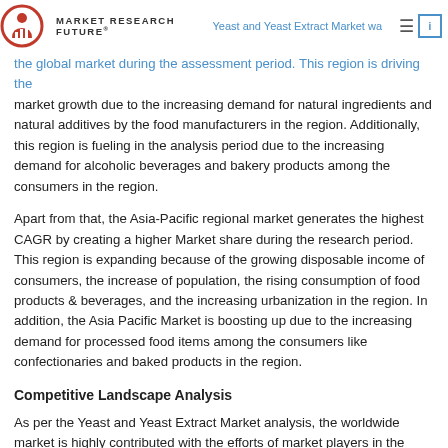MARKET RESEARCH FUTURE | Yeast and Yeast Extract Market was dominating the global market during the assessment period.
market growth due to the increasing demand for natural ingredients and natural additives by the food manufacturers in the region. Additionally, this region is fueling in the analysis period due to the increasing demand for alcoholic beverages and bakery products among the consumers in the region.
Apart from that, the Asia-Pacific regional market generates the highest CAGR by creating a higher Market share during the research period. This region is expanding because of the growing disposable income of consumers, the increase of population, the rising consumption of food products & beverages, and the increasing urbanization in the region. In addition, the Asia Pacific Market is boosting up due to the increasing demand for processed food items among the consumers like confectionaries and baked products in the region.
Competitive Landscape Analysis
As per the Yeast and Yeast Extract Market analysis, the worldwide market is highly contributed with the efforts of market players in the global market. These prominent market giants are: